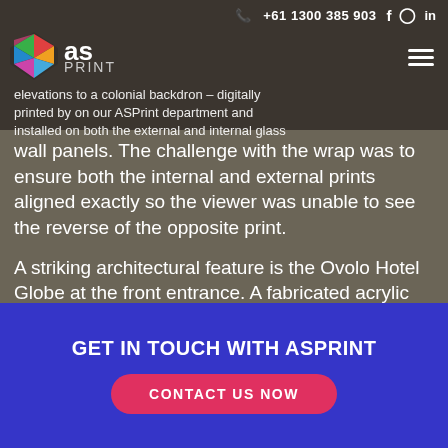+61 1300 385 903 | AS Print logo | social icons | menu
elevations to a colonial backdron – digitally printed by on our ASPrint department and installed on both the external and internal glass wall panels. The challenge with the wrap was to ensure both the internal and external prints aligned exactly so the viewer was unable to see the reverse of the opposite print.
A striking architectural feature is the Ovolo Hotel Globe at the front entrance. A fabricated acrylic hollow sphere, 900mm in diameter manufactured from 10mm Low Density Poly Ethylene. The intricate globe details were created by a vinyl
GET IN TOUCH WITH ASPRINT
CONTACT US NOW